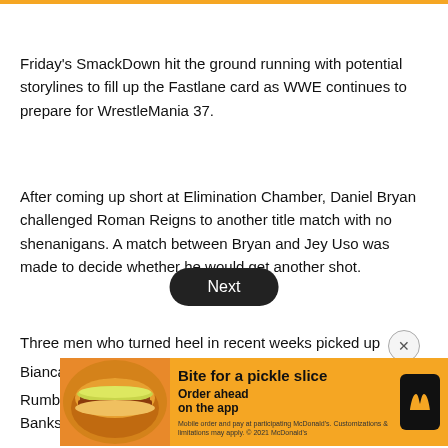Friday's SmackDown hit the ground running with potential storylines to fill up the Fastlane card as WWE continues to prepare for WrestleMania 37.
After coming up short at Elimination Chamber, Daniel Bryan challenged Roman Reigns to another title match with no shenanigans. A match between Bryan and Jey Uso was made to decide whether he would get another shot.
Bianca Belair was still riding high from her women's Royal Rumble victory and finally decided to challenge Sasha Banks at WrestleMania.
Three men who turned heel in recent weeks picked up
[Figure (infographic): McDonald's advertisement banner: 'Bite for a pickle slice. Order ahead on the app.' with food image and McDonald's logo.]